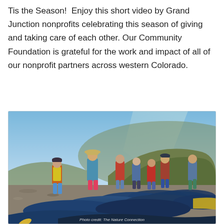Tis the Season! Enjoy this short video by Grand Junction nonprofits celebrating this season of giving and taking care of each other. Our Community Foundation is grateful for the work and impact of all of our nonprofit partners across western Colorado.
[Figure (photo): Group of people in life vests and casual clothing standing on or near a row of blue inflatable rafts/kayaks by a rocky riverbank, with a hilly landscape and blue sky in the background. A yellow paddle is visible in the foreground.]
Photo credit: The Nature Connection